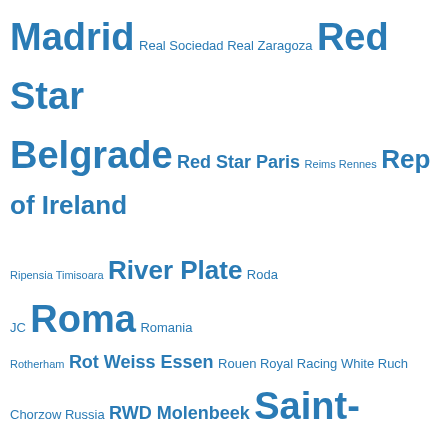[Figure (infographic): Tag cloud of football/soccer clubs and national teams, rendered in blue text at varying font sizes indicating frequency/importance. Terms include Madrid, Real Sociedad, Real Zaragoza, Red Star Belgrade, Red Star Paris, Reims, Rennes, Rep of Ireland, Ripensia Timisoara, River Plate, Roda JC, Roma, Romania, Rotherham, Rot Weiss Essen, Rouen, Royal Racing White, Ruch Chorzow, Russia, RWD Molenbeek, Saint-Etienne, Saint Raphael, Sampdoria, San Diego Sockers, San Lorenzo, Santos, Sao Paulo, Schalke 04, Scotland, Seattle Sounders, Sedan, Servette Geneva, Sevilla, SG Planitz, Shamrock Rovers, Sheffield United, Sheffield Wednesday, Shelbourne, Sigma Olomouc, SK Jugoslavija, SK Velika Srbjia, Slask Wroclaw, Slavia Prague, Slovan Bratislava, Sochaux, Southampton, Soviet Union, Spain, Spartak Moscow, Spartak Trnava, Sparta Prague, Sparta Rotterdam, Sportclub.]